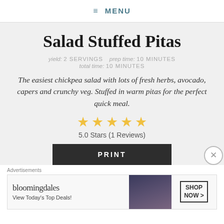≡ MENU
Salad Stuffed Pitas
yield: 2 SERVINGS   prep time: 10 MINUTES   total time: 10 MINUTES
The easiest chickpea salad with lots of fresh herbs, avocado, capers and crunchy veg. Stuffed in warm pitas for the perfect quick meal.
[Figure (other): 5 gold stars rating display]
5.0 Stars (1 Reviews)
PRINT
Advertisements
[Figure (other): Bloomingdales advertisement: View Today's Top Deals! SHOP NOW >]